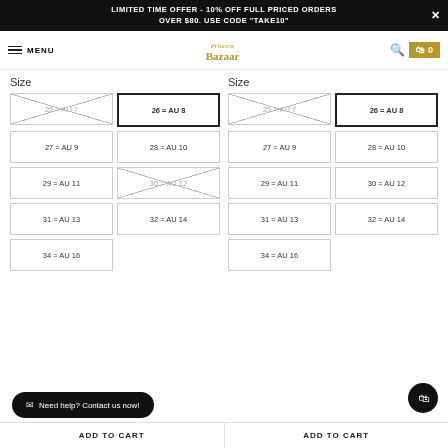LIMITED TIME OFFER - 10% OFF FULL PRICED ORDERS OVER $80. USE CODE "TAKE10"
MENU | Princess Bazaar | Search | Cart 0
Size
Size
25 = AU 7 (crossed out), 26 = AU 8 (selected), 27 = AU 9, 28 = AU 10, 29 = AU 11, 30 = AU 12 (crossed out), 31 = AU 13, 32 = AU 14, 34 = AU 16
25 = AU 7 (crossed out), 26 = AU 8 (selected), 27 = AU 9, 28 = AU 10, 29 = AU 11, 30 = AU 12, 31 = AU 13, 32 = AU 14, 34 = AU 16
Need help? Contact us now!
ADD TO CART | ADD TO CART